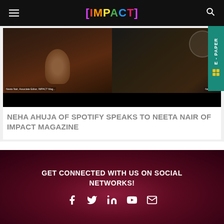[IMPACT]
[Figure (screenshot): Video call screenshot showing two women: Neeta Nair, Associate Editor, IMPACT Magazine on the left, and Neha Ahuja on the right, with a dark/black panel below.]
NEHA AHUJA OF SPOTIFY SPEAKS TO NEETA NAIR OF IMPACT MAGAZINE
GET CONNECTED WITH US ON SOCIAL NETWORKS!